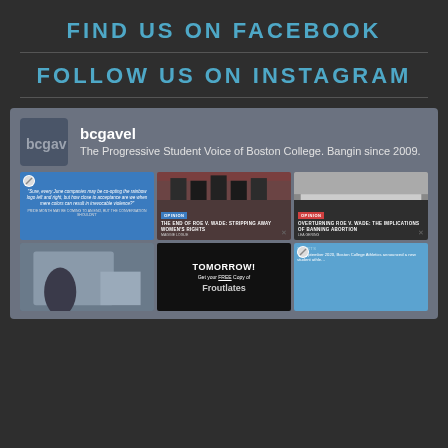FIND US ON FACEBOOK
FOLLOW US ON INSTAGRAM
[Figure (screenshot): Instagram profile card for @bcgavel — The Progressive Student Voice of Boston College. Bangin since 2009. Shows a 3x2 grid of Instagram post thumbnails including opinion pieces about Roe v. Wade, a 'TOMORROW! Get your FREE Copy of' post, and a sports announcement post.]